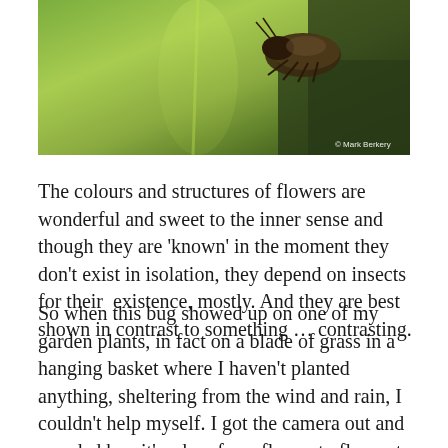[Figure (photo): Close-up macro photograph of a beetle/bug on a green leaf or blade of grass. The insect has dark brown/black coloring with visible legs. A watermark reads '© Mark Berkery' in the bottom right corner.]
The colours and structures of flowers are wonderful and sweet to the inner sense and though they are 'known' in the moment they don't exist in isolation, they depend on insects for their  existence, mostly. And they are best shown in contrast to something … contrasting.
So when this bug showed up on one of my garden plants, in fact on a blade of grass in a hanging basket where I haven't planted anything, sheltering from the wind and rain, I couldn't help myself. I got the camera out and paraded her, it's a her, from flower to flower to see where she was most at home and most beautiful.